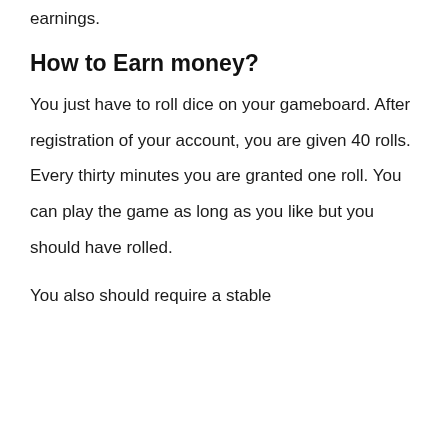earnings.
How to Earn money?
You just have to roll dice on your gameboard. After registration of your account, you are given 40 rolls. Every thirty minutes you are granted one roll. You can play the game as long as you like but you should have rolled.
You also should require a stable